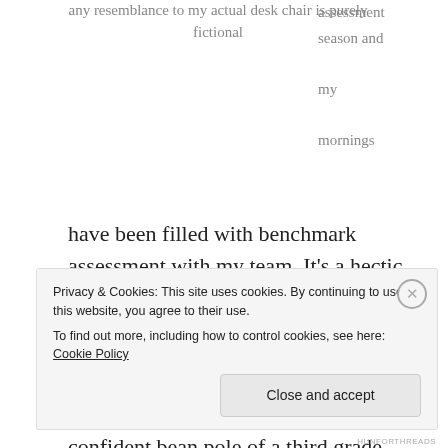any resemblance to my actual desk chair is purely fictional
assessment season and my mornings have been filled with benchmark assessment with my team.  It’s a hectic time, but gives me that so-needed dipstick into the reading temperature of the whole school.
In the midst of a busy Monday,  a  confident bean pole of a third grade plopped down in the chair next to me to read a couple of one-minute reading passages.  He
Privacy & Cookies: This site uses cookies. By continuing to use this website, you agree to their use.
To find out more, including how to control cookies, see here: Cookie Policy
Close and accept